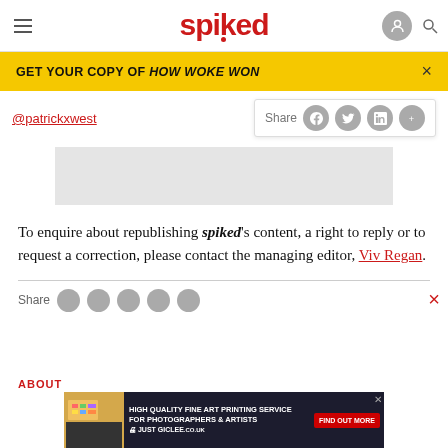spiked
GET YOUR COPY OF HOW WOKE WON
@patrickxwest
[Figure (screenshot): Gray advertisement placeholder rectangle]
To enquire about republishing spiked's content, a right to reply or to request a correction, please contact the managing editor, Viv Regan.
[Figure (screenshot): Bottom advertisement banner: HIGH QUALITY FINE ART PRINTING SERVICE FOR PHOTOGRAPHERS & ARTISTS JUST GICLEE — FIND OUT MORE]